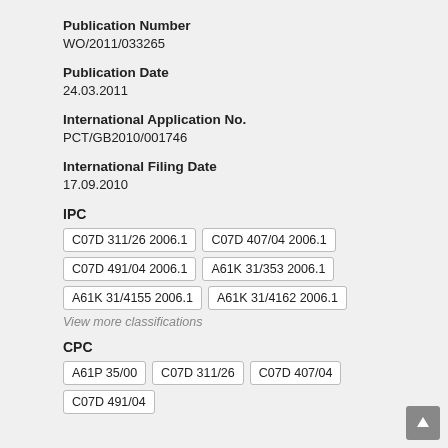Publication Number
WO/2011/033265
Publication Date
24.03.2011
International Application No.
PCT/GB2010/001746
International Filing Date
17.09.2010
IPC
C07D 311/26 2006.1 | C07D 407/04 2006.1 | C07D 491/04 2006.1 | A61K 31/353 2006.1 | A61K 31/4155 2006.1 | A61K 31/4162 2006.1
View more classifications
CPC
A61P 35/00 | C07D 311/26 | C07D 407/04 | C07D 491/04